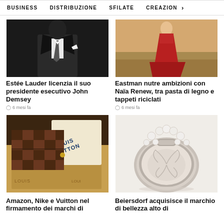BUSINESS   DISTRIBUZIONE   SFILATE   CREAZION  >
[Figure (photo): Black and white photo of a man in a dark suit with white shirt and black tie]
[Figure (photo): Woman in a long red dress standing in a field]
Estée Lauder licenzia il suo presidente esecutivo John Demsey
Eastman nutre ambizioni con Naïa Renew, tra pasta di legno e tappeti riciclati
6 mesi fa
6 mesi fa
[Figure (photo): Louis Vuitton checkered wallet/purse on Louis Vuitton branded packaging]
[Figure (photo): Luxury cosmetic compact with pearl decorations and embossed design, silver metallic case]
Amazon, Nike e Vuitton nel firmamento dei marchi di
Beiersdorf acquisisce il marchio di bellezza alto di